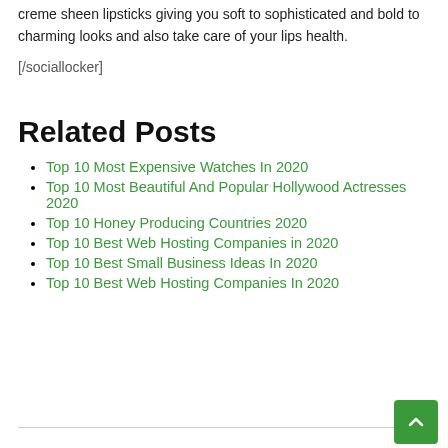creme sheen lipsticks giving you soft to sophisticated and bold to charming looks and also take care of your lips health.
[/sociallocker]
Related Posts
Top 10 Most Expensive Watches In 2020
Top 10 Most Beautiful And Popular Hollywood Actresses 2020
Top 10 Honey Producing Countries 2020
Top 10 Best Web Hosting Companies in 2020
Top 10 Best Small Business Ideas In 2020
Top 10 Best Web Hosting Companies In 2020